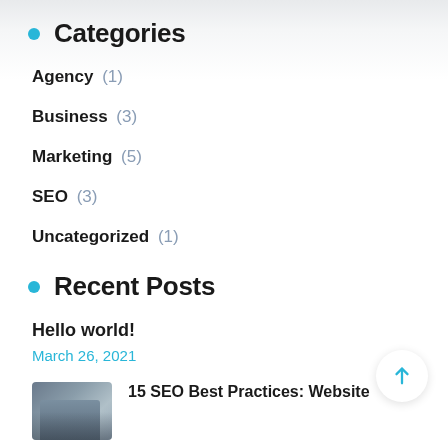Categories
Agency (1)
Business (3)
Marketing (5)
SEO (3)
Uncategorized (1)
Recent Posts
Hello world!
March 26, 2021
15 SEO Best Practices: Website